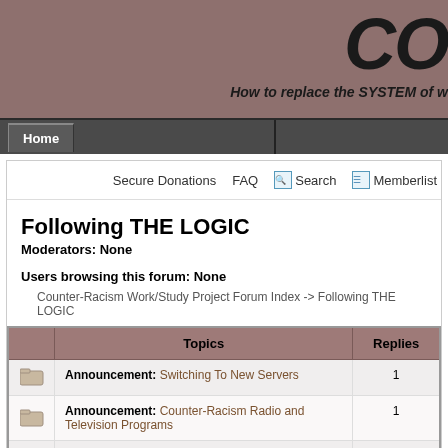CO | How to replace the SYSTEM of w
Home
Secure Donations   FAQ   Search   Memberlist
Following THE LOGIC
Moderators: None
Users browsing this forum: None
Counter-Racism Work/Study Project Forum Index -> Following THE LOGIC
|  | Topics | Replies |
| --- | --- | --- |
|  | Announcement: Switching To New Servers | 1 |
|  | Announcement: Counter-Racism Radio and Television Programs | 1 |
|  | Announcement: LibRadio Interview | 3 |
|  | Announcement: Racism Interview Protocol | 0 |
|  | Sticky: Counter-Racism Mall | 4 |